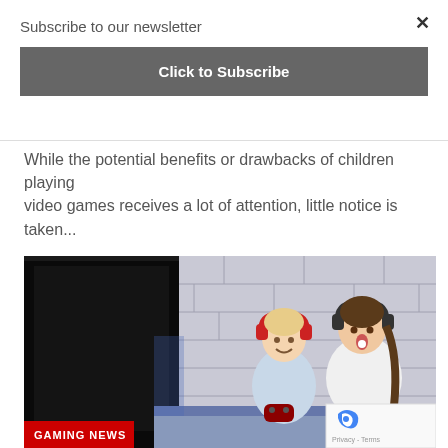Subscribe to our newsletter
Click to Subscribe
While the potential benefits or drawbacks of children playing video games receives a lot of attention, little notice is taken...
[Figure (photo): Two children sitting on a couch playing video games with controllers. One child wears red headphones, the other black headphones. A large dark monitor is visible on the left. A 'GAMING NEWS' label appears in the bottom left corner.]
GAMING NEWS